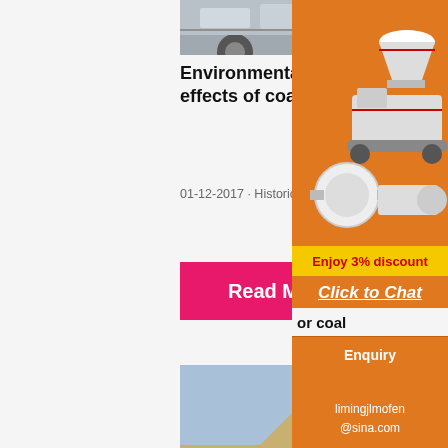[Figure (photo): Partial view of a large truck/transport vehicle, cropped at top of page]
Environmental and other effects of coal mining and ...
01-12-2017 · Historically coal mining is associate…
Read More
[Figure (photo): Red mining/crushing machine on a gravel/rock pile at a quarry or mining site]
combustion: carcinogens ...
[Figure (illustration): Sidebar advertisement showing orange background with mining machinery images, discount offer, click to chat button, enquiry link, and email limingjlmofen@sina.com]